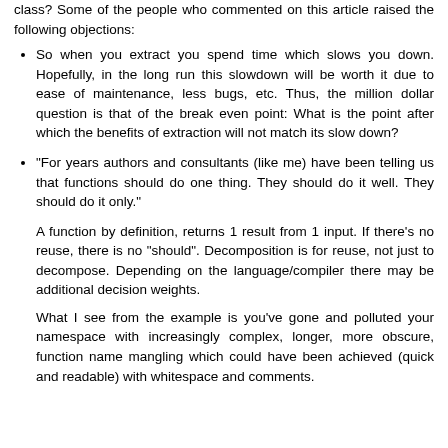class? Some of the people who commented on this article raised the following objections:
So when you extract you spend time which slows you down. Hopefully, in the long run this slowdown will be worth it due to ease of maintenance, less bugs, etc. Thus, the million dollar question is that of the break even point: What is the point after which the benefits of extraction will not match its slow down?
"For years authors and consultants (like me) have been telling us that functions should do one thing. They should do it well. They should do it only."
A function by definition, returns 1 result from 1 input. If there's no reuse, there is no "should". Decomposition is for reuse, not just to decompose. Depending on the language/compiler there may be additional decision weights.
What I see from the example is you've gone and polluted your namespace with increasingly complex, longer, more obscure, function name mangling which could have been achieved (quick and readable) with whitespace and comments.